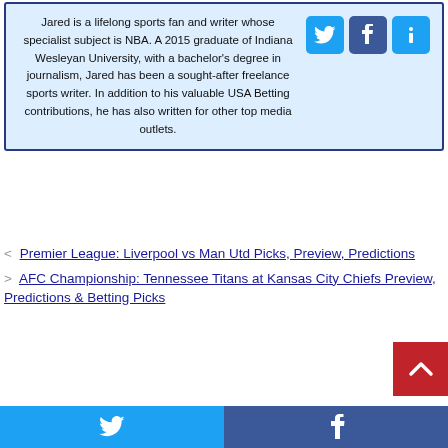Jared is a lifelong sports fan and writer whose specialist subject is NBA. A 2015 graduate of Indiana Wesleyan University, with a bachelor's degree in journalism, Jared has been a sought-after freelance sports writer. In addition to his valuable USA Betting contributions, he has also written for other top media outlets.
< Premier League: Liverpool vs Man Utd Picks, Preview, Predictions
> AFC Championship: Tennessee Titans at Kansas City Chiefs Preview, Predictions & Betting Picks
[Figure (other): Twitter, Facebook, and info social media icon buttons (blue squares)]
[Figure (other): Back to top button (red square with up chevron)]
[Figure (other): Footer social bar with Twitter (light blue) and Facebook (dark blue) icons]